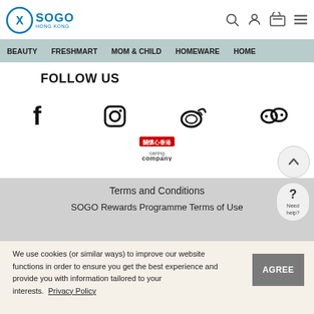SOGO HONG KONG
FOLLOW US
[Figure (logo): Social media icons: Facebook, Instagram, Weibo, WeChat]
[Figure (logo): Caring Company logo]
Terms and Conditions
SOGO Rewards Programme Terms of Use
We use cookies (or similar ways) to improve our website functions in order to ensure you get the best experience and provide you with information tailored to your interests.  Privacy Policy